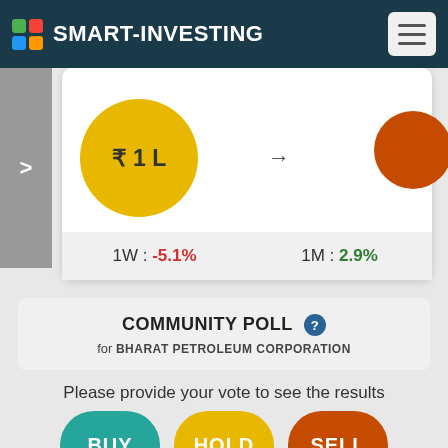SMART-INVESTING
[Figure (infographic): Investment amount circle showing ₹1L in gold/yellow circle, with arrow pointing right, and partial orange circle on right. Stats bar below showing 1W: -5.1% and 1M: 2.9%]
COMMUNITY POLL for BHARAT PETROLEUM CORPORATION
Please provide your vote to see the results
[Figure (infographic): Three vote buttons: BUY (teal), HOLD (yellow), SELL (orange-red)]